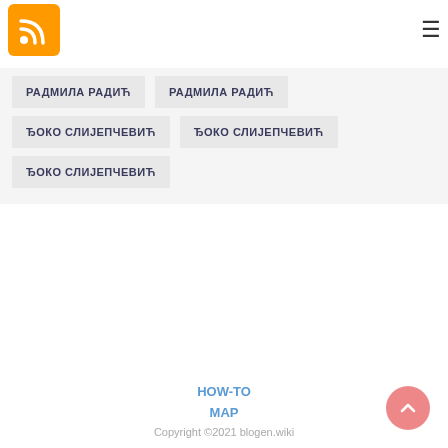RSS logo and hamburger menu
РАДМИЛА РАДИЋ
РАДМИЛА РАДИЋ
ЂОКО СЛИЈЕПЧЕВИЋ
ЂОКО СЛИЈЕПЧЕВИЋ
ЂОКО СЛИЈЕПЧЕВИЋ
HOW-TO
MAP
Copyright ©2021 blogen.wiki